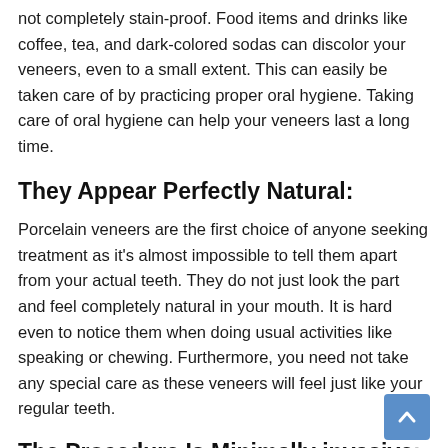not completely stain-proof. Food items and drinks like coffee, tea, and dark-colored sodas can discolor your veneers, even to a small extent. This can easily be taken care of by practicing proper oral hygiene. Taking care of oral hygiene can help your veneers last a long time.
They Appear Perfectly Natural:
Porcelain veneers are the first choice of anyone seeking treatment as it's almost impossible to tell them apart from your actual teeth. They do not just look the part and feel completely natural in your mouth. It is hard even to notice them when doing usual activities like speaking or chewing. Furthermore, you need not take any special care as these veneers will feel just like your regular teeth.
The Procedure Is Minimally invasive:
Veneers require very little room to be installed on top of your